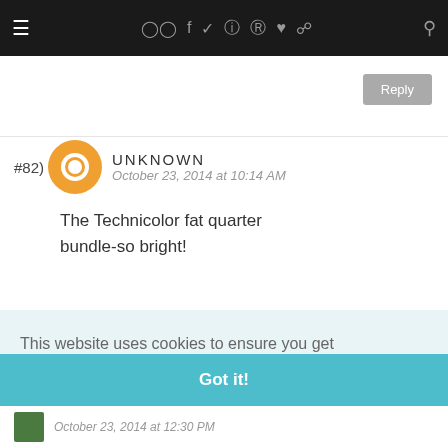Navigation bar with menu, social icons, and search
Reply
#82) UNKNOWN
October 23, 2014 at 10:14 AM
The Technicolor fat quarter bundle-so bright!
This website uses cookies to ensure you get the best experience on our website.
Learn more
Got it!
October 23, 2014 at 12:30 PM